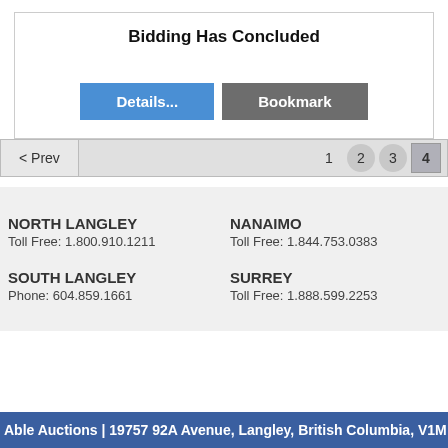Bidding Has Concluded
Details...
Bookmark
< Prev  1  2  3  4
NORTH LANGLEY
Toll Free: 1.800.910.1211
NANAIMO
Toll Free: 1.844.753.0383
SOUTH LANGLEY
Phone: 604.859.1661
SURREY
Toll Free: 1.888.599.2253
Able Auctions | 19757 92A Avenue, Langley, British Columbia, V1M 3B3,